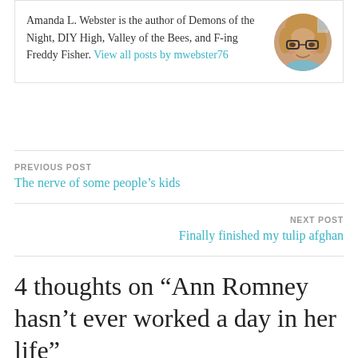Amanda L. Webster is the author of Demons of the Night, DIY High, Valley of the Bees, and F-ing Freddy Fisher. View all posts by mwebster76
[Figure (photo): Circular profile photo of Amanda L. Webster, a woman with glasses smiling]
PREVIOUS POST
The nerve of some people's kids
NEXT POST
Finally finished my tulip afghan
4 thoughts on “Ann Romney hasn’t ever worked a day in her life”